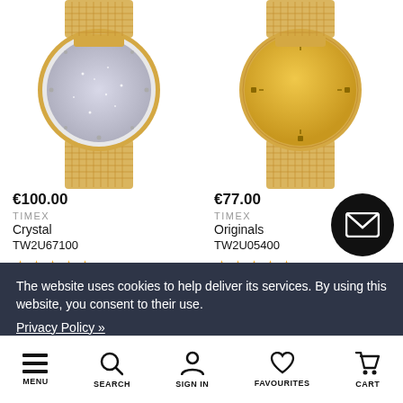[Figure (photo): Two Timex watches with gold mesh bands shown from above on white background. Left watch has a crystal/glitter dial, right watch has a plain gold dial.]
€100.00
TIMEX
Crystal
TW2U67100
★★★★★
€77.00
TIMEX
Originals
TW2U05400
★★★★★
The website uses cookies to help deliver its services. By using this website, you consent to their use.
Privacy Policy »
I AGREE
MENU  SEARCH  SIGN IN  FAVOURITES  CART